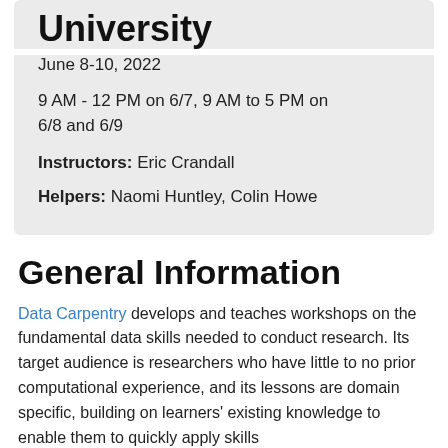University
June 8-10, 2022
9 AM - 12 PM on 6/7, 9 AM to 5 PM on 6/8 and 6/9
Instructors: Eric Crandall
Helpers: Naomi Huntley, Colin Howe
General Information
Data Carpentry develops and teaches workshops on the fundamental data skills needed to conduct research. Its target audience is researchers who have little to no prior computational experience, and its lessons are domain specific, building on learners' existing knowledge to enable them to quickly apply skills